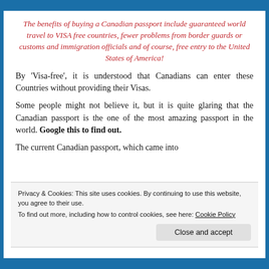The benefits of buying a Canadian passport include guaranteed world travel to VISA free countries, fewer problems from border guards or customs and immigration officials and of course, free entry to the United States of America!
By 'Visa-free', it is understood that Canadians can enter these Countries without providing their Visas.
Some people might not believe it, but it is quite glaring that the Canadian passport is the one of the most amazing passport in the world. Google this to find out.
The current Canadian passport, which came into
Privacy & Cookies: This site uses cookies. By continuing to use this website, you agree to their use.
To find out more, including how to control cookies, see here: Cookie Policy